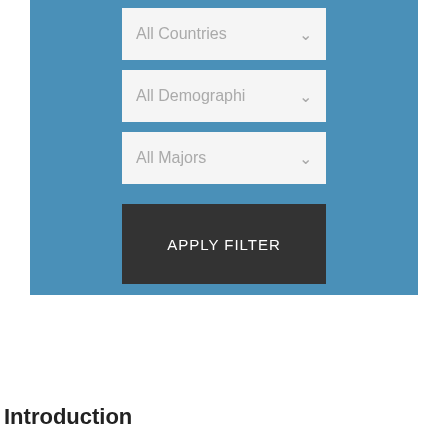[Figure (screenshot): A blue filter panel UI with three dropdown selectors labeled 'All Countries', 'All Demographi', and 'All Majors', followed by an 'APPLY FILTER' dark button and a horizontal divider line.]
Introduction